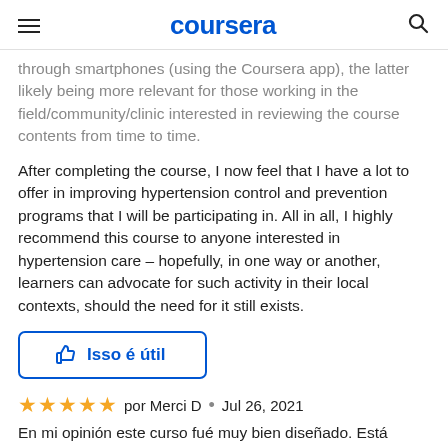coursera
through smartphones (using the Coursera app), the latter likely being more relevant for those working in the field/community/clinic interested in reviewing the course contents from time to time.
After completing the course, I now feel that I have a lot to offer in improving hypertension control and prevention programs that I will be participating in. All in all, I highly recommend this course to anyone interested in hypertension care – hopefully, in one way or another, learners can advocate for such activity in their local contexts, should the need for it still exists.
[Figure (other): Thumbs up button labeled 'Isso é útil']
★★★★★ por Merci D • Jul 26, 2021
En mi opinión este curso fué muy bien diseñado. Está